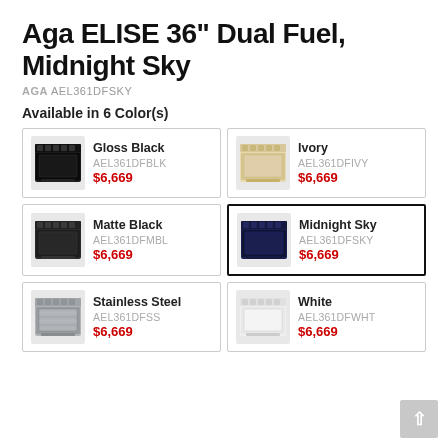Aga ELISE 36" Dual Fuel, Midnight Sky
AGA AEL361DFSKY
Available in 6 Color(s)
| Image | Name | SKU | Price |
| --- | --- | --- | --- |
| [Black Range] | Gloss Black | AEL361DFBLK | $6,669 |
| [Ivory Range] | Ivory | AEL361DFIVY | $6,669 |
| [Matte Black Range] | Matte Black | AEL361DFMBL | $6,669 |
| [Midnight Sky Range] | Midnight Sky | AEL361DFSKY | $6,669 |
| [Stainless Range] | Stainless Steel | AEL361DFSS | $6,669 |
| [White Range] | White | AEL361DFWHT | $6,669 |